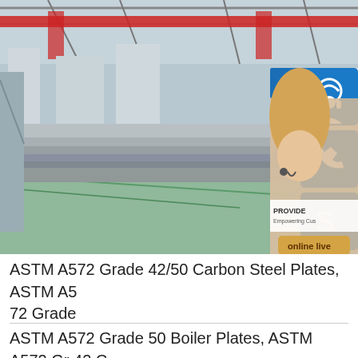[Figure (photo): Industrial warehouse/factory interior showing stacks of steel plates on the floor with overhead crane structure. Overlaid with customer service UI elements: '24/7' blue banner, blue icon buttons (headset, phone, Skype), a woman with headset, 'PROVIDE Empowering Customers' text, and 'online live' button.]
ASTM A572 Grade 42/50 Carbon Steel Plates, ASTM A572 Grade
ASTM A572 Grade 50 Boiler Plates, ASTM A572 Gr 42 Coils, ASTM A572 Gr 50 Shim Sheets, ASTM A572 Grade